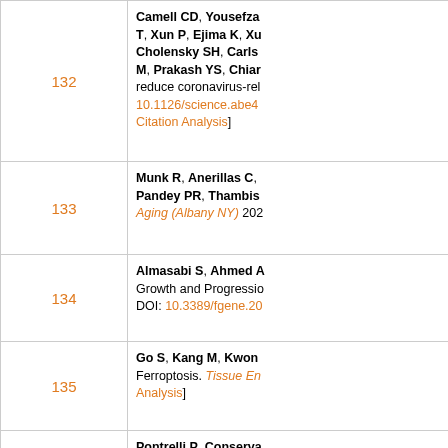| Number | Reference |
| --- | --- |
| 132 | Camell CD, Yousefza T, Xun P, Ejima K, Xu Cholensky SH, Carls M, Prakash YS, Chiar reduce coronavirus-rel 10.1126/science.abe4 Citation Analysis] |
| 133 | Munk R, Anerillas C, Pandey PR, Thambis Aging (Albany NY) 202 |
| 134 | Almasabi S, Ahmed A Growth and Progressio DOI: 10.3389/fgene.20 |
| 135 | Go S, Kang M, Kwon Ferroptosis. Tissue En Analysis] |
| 136 | Pontrelli P, Conserva Simone S, Pesce F, C Lysine 63 Ubiquitinatio 2021;22:5194. [PMID: |
| 137 | Palacios-Pedrero MÁ to Halt Declining Immu 10.3389/fimmu.2021.6 |